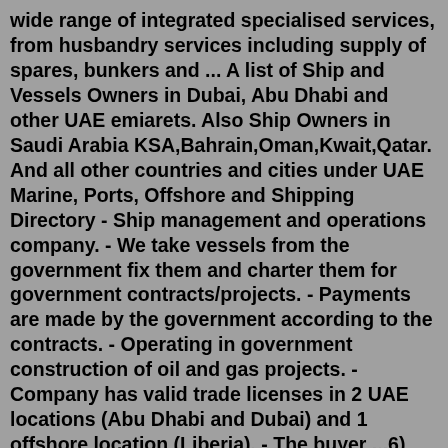wide range of integrated specialised services, from husbandry services including supply of spares, bunkers and ... A list of Ship and Vessels Owners in Dubai, Abu Dhabi and other UAE emiarets. Also Ship Owners in Saudi Arabia KSA,Bahrain,Oman,Kwait,Qatar. And all other countries and cities under UAE Marine, Ports, Offshore and Shipping Directory - Ship management and operations company. - We take vessels from the government fix them and charter them for government contracts/projects. - Payments are made by the government according to the contracts. - Operating in government construction of oil and gas projects. - Company has valid trade licenses in 2 UAE locations (Abu Dhabi and Dubai) and 1 offshore location (Liberia). - The buyer ...6) Naqel Express Logistics Company In Abu Dhabi Naqel Express has been operational in Abu Dhabi since 1993. It offers excellent parcel delivery services along with fulfillment services like warehousing, order